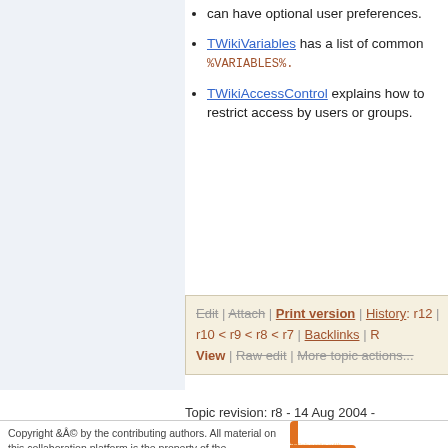can have optional user preferences.
TWikiVariables has a list of common %VARIABLES%.
TWikiAccessControl explains how to restrict access by users or groups.
Edit | Attach | Print version | History: r12 | r10 < r9 < r8 < r7 | Backlinks | R View | Raw edit | More topic actions...
Topic revision: r8 - 14 Aug 2004 - 22:19:15 - ArthurClemens?
Copyright &Â© by the contributing authors. All material on this collaboration platform is the property of the contributing authors. Ideas, requests, problems regarding TWiki? Send feedback